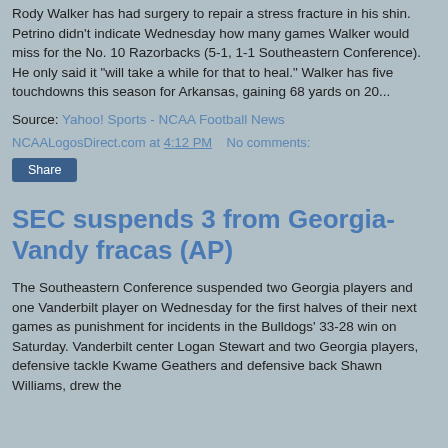Rody Walker has had surgery to repair a stress fracture in his shin. Petrino didn't indicate Wednesday how many games Walker would miss for the No. 10 Razorbacks (5-1, 1-1 Southeastern Conference). He only said it "will take a while for that to heal." Walker has five touchdowns this season for Arkansas, gaining 68 yards on 20...
Source: Yahoo! Sports - NCAA Football News
NCAALogosDirect.com at 4:12 PM   No comments:
Share
SEC suspends 3 from Georgia-Vandy fracas (AP)
The Southeastern Conference suspended two Georgia players and one Vanderbilt player on Wednesday for the first halves of their next games as punishment for incidents in the Bulldogs' 33-28 win on Saturday. Vanderbilt center Logan Stewart and two Georgia players, defensive tackle Kwame Geathers and defensive back Shawn Williams, drew the